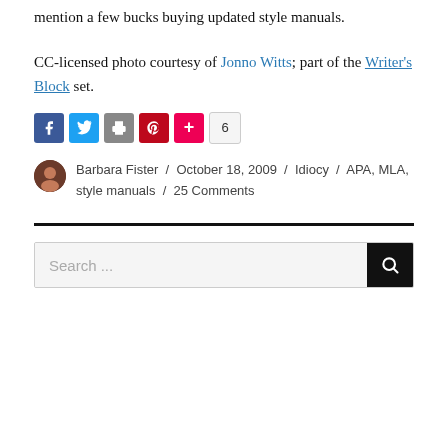mention a few bucks buying updated style manuals.
CC-licensed photo courtesy of Jonno Witts; part of the Writer's Block set.
[Figure (infographic): Social share buttons: Facebook, Twitter, Print, Pinterest, Plus, and share count showing 6]
Barbara Fister / October 18, 2009 / Idiocy / APA, MLA, style manuals / 25 Comments
Search ...